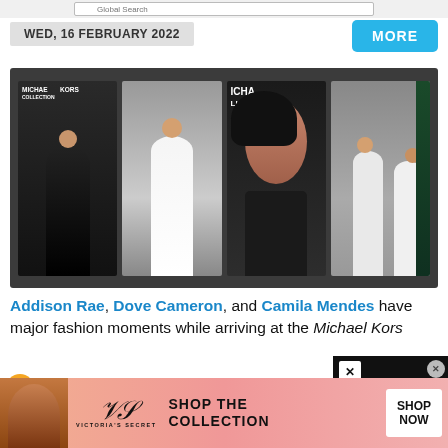Global Search
WED, 16 FEBRUARY 2022
MORE
[Figure (photo): Four celebrity fashion photos at Michael Kors event. Photo 1: person in black dress. Photo 2: person in white outfit. Photo 3: close-up face of person with dark hair. Photo 4: two people in white outfits.]
Addison Rae, Dove Cameron, and Camila Mendes have major fashion moments while arriving at the Michael Kors
[Figure (photo): Victoria's Secret advertisement banner with model, VS logo, Shop the Collection text, and Shop Now button]